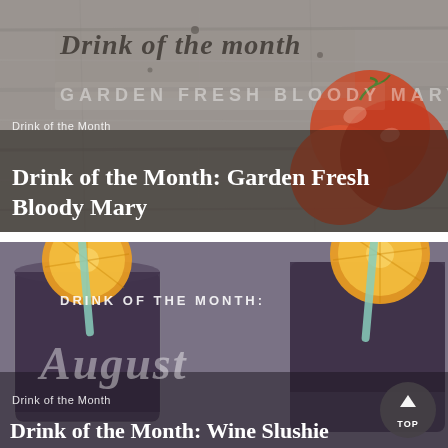[Figure (photo): Card image with wooden board background, tomatoes, and text overlays reading 'Drink of the month' in cursive and 'GARDEN FRESH BLOODY MARYS' in caps. Category label 'Drink of the Month' and title 'Drink of the Month: Garden Fresh Bloody Mary' overlaid at bottom.]
[Figure (photo): Card image showing two mason jars filled with dark purple drink (wine slushie), garnished with orange slices and green straws. Text overlays read 'DRINK OF THE MONTH:' and 'August' in large script. Category label 'Drink of the Month' and partial title 'Drink of the Month: Wine Slushie' at bottom. A circular 'TOP' button is in bottom right corner.]